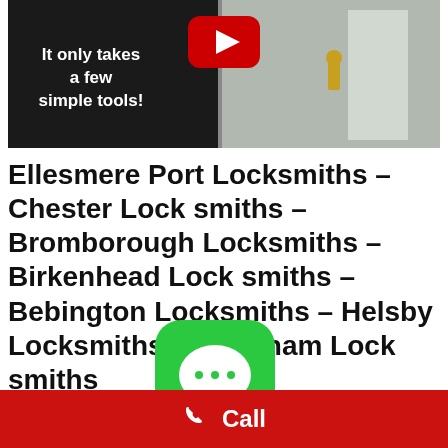[Figure (screenshot): YouTube video thumbnail showing a door lock with text 'It only takes a few simple tools!' and YouTube play button]
Ellesmere Port Locksmiths – Chester Lock smiths – Bromborough Locksmiths – Birkenhead Lock smiths – Bebington Locksmiths – Helsby Locksmiths | Frodsham Lock smiths
[Figure (other): Green iOS Messages app icon overlay with 'Message me' label]
Call